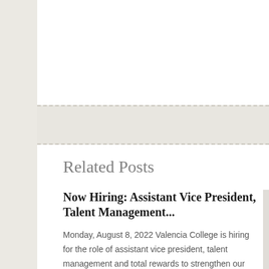Related Posts
Now Hiring: Assistant Vice President, Talent Management...
Monday, August 8, 2022 Valencia College is hiring for the role of assistant vice president, talent management and total rewards to strengthen our network of employees by providing vision and leadership for all aspects of the College's talent management network, including talent acquisition, compensation, benefits, employee development and employee experience. If you know of
Now Hiring: Dual Enro...
Tuesday, July ... currently seeki...